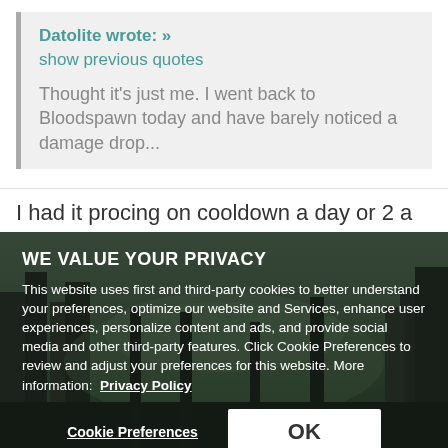Datolite wrote: » show previous quotes
Thought it's just me. I went back to Bloodspawn today and have barely noticed a damage drop...
I had it procing on cooldown a day or 2 a go I don't think
WE VALUE YOUR PRIVACY
This website uses first and third-party cookies to better understand your preferences, optimize our website and Services, enhance user experiences, personalize content and ads, and provide social media and other third-party features. Click Cookie Preferences to review and adjust your preferences for this website. More information:  Privacy Policy
Cookie Preferences    OK